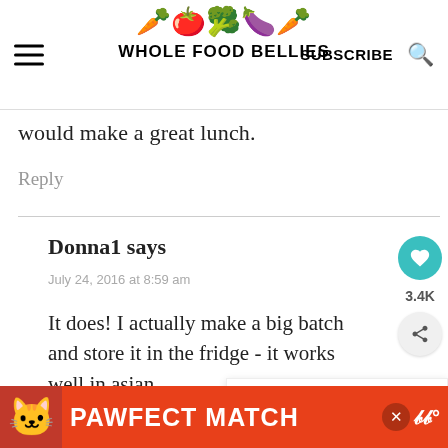WHOLE FOOD BELLIES
would make a great lunch.
Reply
Donna1 says
July 24, 2016 at 8:59 am
It does! I actually make a big batch and store it in the fridge - it works well in asian
[Figure (other): What's Next promotional widget showing a cocktail image with text 'Thyme and Honey Gin...']
[Figure (other): Advertisement banner: PAWFECT MATCH with cat image on orange background]